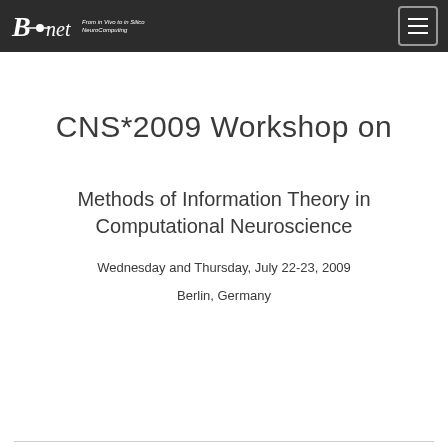Bi-net From in Vivo to in Silico NeuroComputing
CNS*2009 Workshop on
Methods of Information Theory in Computational Neuroscience
Wednesday and Thursday, July 22-23, 2009
Berlin, Germany